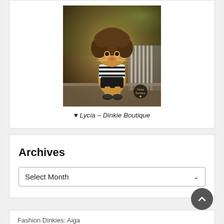[Figure (photo): A digitally edited photo of a cat wearing a striped shirt, black shorts, and sneakers, with curly hair, posed in an outdoor patio setting with patio furniture.]
♥ Lycia – Dinkie Boutique
Archives
Select Month
Fashion Dinkies: Aiga
19thAug2022: DJ Brandi at Maymay Rawtee, New